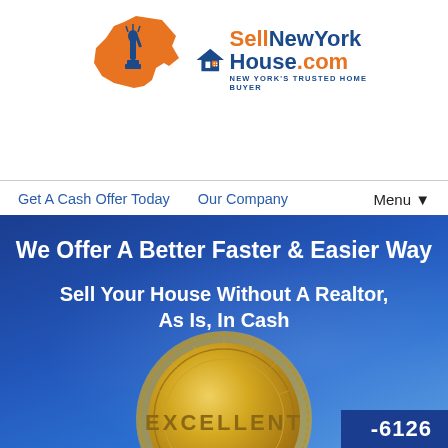[Figure (logo): SellNewYorkHouse.com logo with orange New York state silhouette, Statue of Liberty icon, house icon, and tagline NEW YORK'S TRUSTED HOME BUYER]
Get A Cash Offer Today   Our Company   Menu▼
We Offer A Better Faster & Easier Way
Sell Your House Without A Realtor, As Is, In Cash
[Figure (illustration): Gold excellent badge/medallion seal on blue sky background]
EXCELLENT
-6126